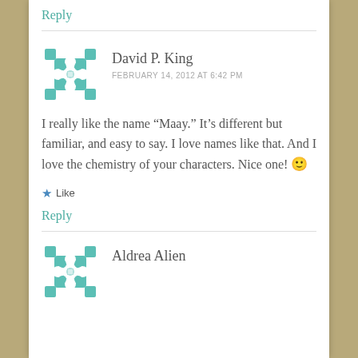Reply
David P. King
FEBRUARY 14, 2012 AT 6:42 PM
I really like the name “Maay.” It’s different but familiar, and easy to say. I love names like that. And I love the chemistry of your characters. Nice one! 🙂
★ Like
Reply
Aldrea Alien